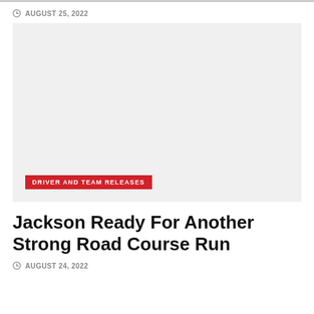AUGUST 25, 2022
[Figure (photo): Light grey placeholder image area with a red tag label reading DRIVER AND TEAM RELEASES at the bottom left]
Jackson Ready For Another Strong Road Course Run
AUGUST 24, 2022